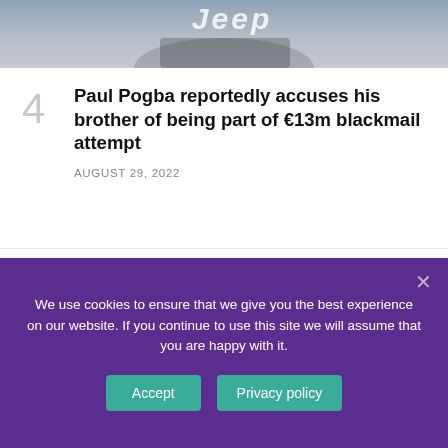[Figure (photo): Cropped photo of a person wearing a Juventus Jeep jersey, only the chest/shoulder area visible against a light background]
Paul Pogba reportedly accuses his brother of being part of €13m blackmail attempt
AUGUST 29, 2022
We use cookies to ensure that we give you the best experience on our website. If you continue to use this site we will assume that you are happy with it.
Accept
Privacy policy